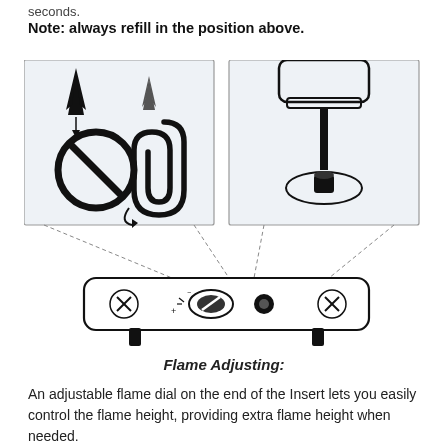seconds.
Note: always refill in the position above.
[Figure (illustration): Instruction diagram showing two panels: left panel shows a no-symbol (prohibition sign) over flames with a paperclip indicating rotation, right panel shows a tool/screwdriver inserting into a component from above. Below both panels is a lighter insert with dashed lines connecting to the adjustment dial and fill port on the insert body.]
Flame Adjusting:
An adjustable flame dial on the end of the Insert lets you easily control the flame height, providing extra flame height when needed.